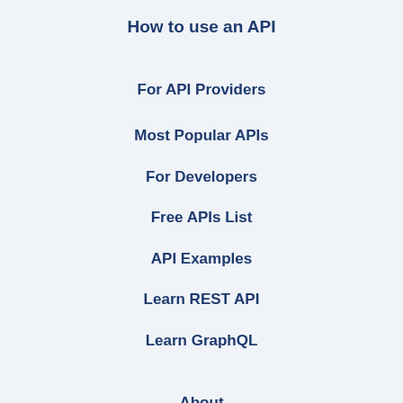How to use an API
For API Providers
Most Popular APIs
For Developers
Free APIs List
API Examples
Learn REST API
Learn GraphQL
About